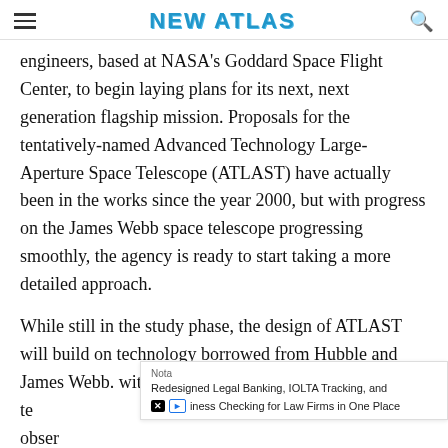NEW ATLAS
engineers, based at NASA's Goddard Space Flight Center, to begin laying plans for its next, next generation flagship mission. Proposals for the tentatively-named Advanced Technology Large-Aperture Space Telescope (ATLAST) have actually been in the works since the year 2000, but with progress on the James Webb space telescope progressing smoothly, the agency is ready to start taking a more detailed approach.
While still in the study phase, the design of ATLAST will build on technology borrowed from Hubble and James Webb. with the overriding goal of designing the te... obser...
Nota
Redesigned Legal Banking, IOLTA Tracking, and Business Checking for Law Firms in One Place